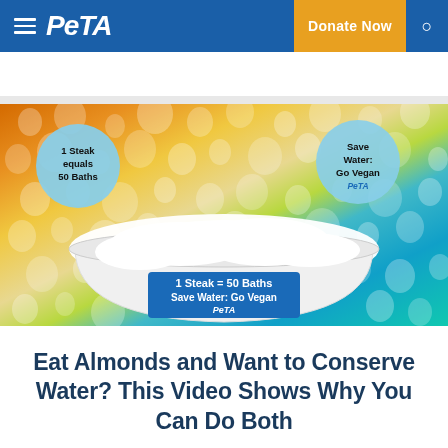PETA — Donate Now
[Figure (photo): Two women in a bubble bath holding circular signs reading '1 Steak equals 50 Baths' and 'Save Water: Go Vegan PETA', with a sign on the bathtub reading '1 Steak = 50 Baths / Save Water: Go Vegan / PETA', against a colorful water-drops background]
Eat Almonds and Want to Conserve Water? This Video Shows Why You Can Do Both